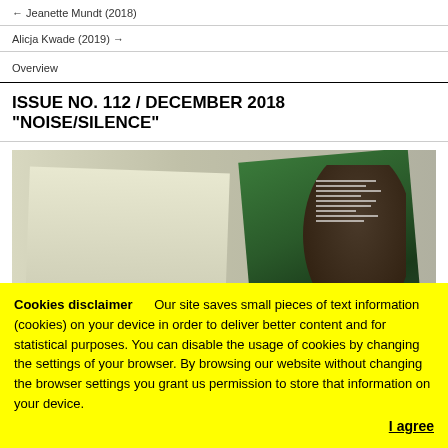← Jeanette Mundt (2018)
Alicja Kwade (2019) →
Overview
ISSUE NO. 112 / DECEMBER 2018 "NOISE/SILENCE"
[Figure (photo): Photo of two magazine/book covers overlapping, one showing a person with dark curly hair and green cover, one showing a lighter colored cover]
Cookies disclaimer   Our site saves small pieces of text information (cookies) on your device in order to deliver better content and for statistical purposes. You can disable the usage of cookies by changing the settings of your browser. By browsing our website without changing the browser settings you grant us permission to store that information on your device.
I agree